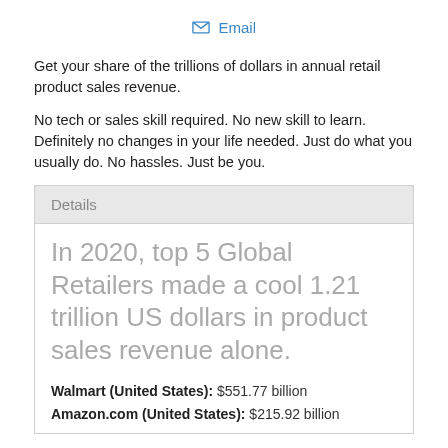✉ Email
Get your share of the trillions of dollars in annual retail product sales revenue.
No tech or sales skill required. No new skill to learn. Definitely no changes in your life needed. Just do what you usually do. No hassles. Just be you.
Details
In 2020, top 5 Global Retailers made a cool 1.21 trillion US dollars in product sales revenue alone.
Walmart (United States): $551.77 billion
Amazon.com (United States): $215.92 billion